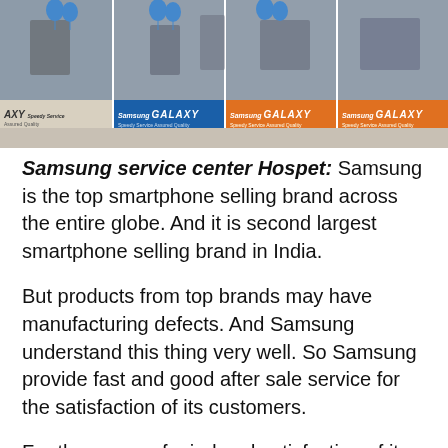[Figure (photo): Samsung Galaxy store display with multiple panels showing Samsung Galaxy branding banners in blue and orange colors, with blue balloons decorating the top]
Samsung service center Hospet: Samsung is the top smartphone selling brand across the entire globe. And it is second largest smartphone selling brand in India.
But products from top brands may have manufacturing defects. And Samsung understand this thing very well. So Samsung provide fast and good after sale service for the satisfaction of its customers.
For the peace of mind and satisfaction of its customers Samsung has opened its exclusive and authorized service centers across the world. So in this post we are going to discuss all Samsung